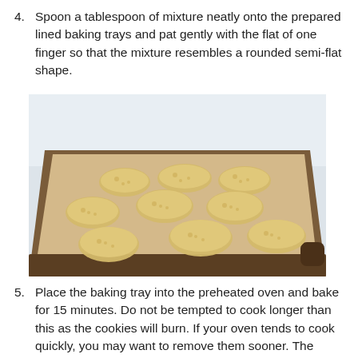4. Spoon a tablespoon of mixture neatly onto the prepared lined baking trays and pat gently with the flat of one finger so that the mixture resembles a rounded semi-flat shape.
[Figure (photo): A baking tray lined with parchment paper holding multiple rounded semi-flat cookie dough mounds arranged in rows, ready to bake.]
5. Place the baking tray into the preheated oven and bake for 15 minutes. Do not be tempted to cook longer than this as the cookies will burn. If your oven tends to cook quickly, you may want to remove them sooner. The edges and tops